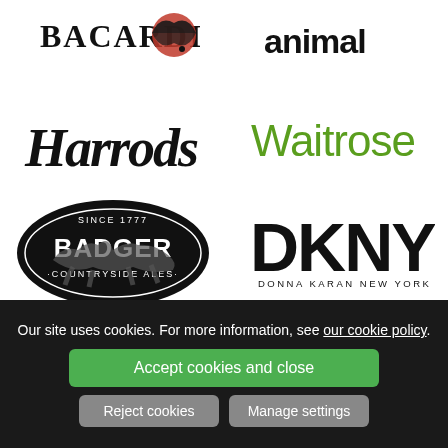[Figure (logo): Bacardi logo with bat emblem and serif text]
[Figure (logo): Animal brand logo in lowercase sans-serif]
[Figure (logo): Harrods logo in decorative calligraphy script]
[Figure (logo): Waitrose logo in green sans-serif]
[Figure (logo): Badger Countryside Ales logo with running badger illustration, Since 1777]
[Figure (logo): DKNY Donna Karan New York logo in black bold sans-serif]
Our site uses cookies. For more information, see our cookie policy.
Accept cookies and close
Reject cookies
Manage settings